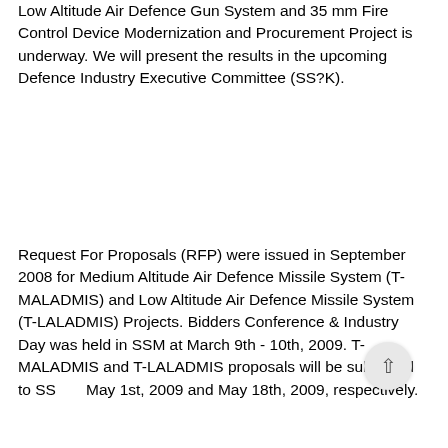Low Altitude Air Defence Gun System and 35 mm Fire Control Device Modernization and Procurement Project is underway. We will present the results in the upcoming Defence Industry Executive Committee (SS?K).
Request For Proposals (RFP) were issued in September 2008 for Medium Altitude Air Defence Missile System (T-MALADMIS) and Low Altitude Air Defence Missile System (T-LALADMIS) Projects. Bidders Conference & Industry Day was held in SSM at March 9th - 10th, 2009. T-MALADMIS and T-LALADMIS proposals will be submitted to SSM May 1st, 2009 and May 18th, 2009, respectively.